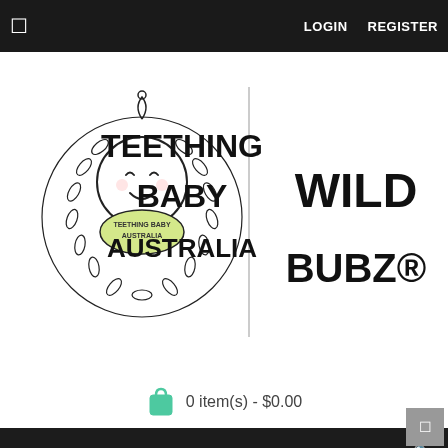LOGIN  REGISTER
[Figure (logo): Teething Baby Australia | Wild Bubz® logo with illustrated baby in wreath and bold text]
0 item(s) - $0.00
Search
MENU
/ LIMITED EDITION | My 1st Christmas Motif Wood Rings | 65mm | Safety Certified | WILDBUBZ®